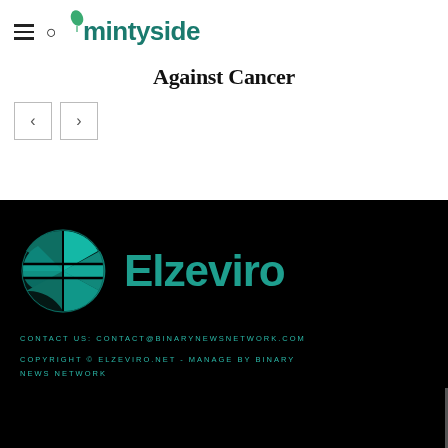mintyside
Against Cancer
[Figure (logo): Elzeviro logo with teal globe icon and wordmark on black background]
CONTACT US: CONTACT@BINARYNEWSNETWORK.COM
COPYRIGHT © ELZEVIRO.NET - MANAGE BY BINARY NEWS NETWORK